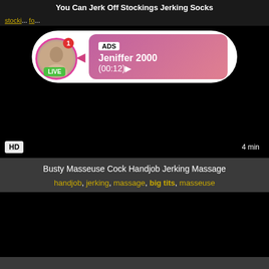You Can Jerk Off Stockings Jerking Socks
stocki... fo...
[Figure (screenshot): Video thumbnail (black) with HD badge and 4 min duration label, with an ad overlay showing a live profile named Jeniffer 2000 with (00:12) timer]
Busty Masseuse Cock Handjob Jerking Massage
handjob, jerking, massage, big tits, masseuse
[Figure (screenshot): Second video thumbnail (black)]